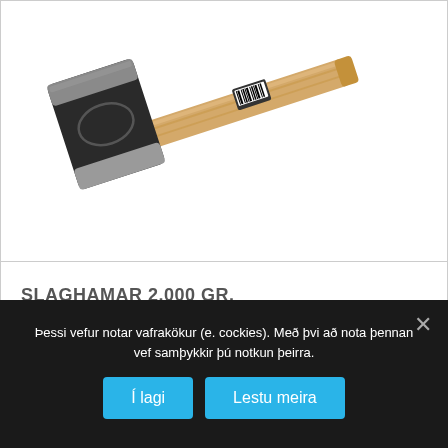[Figure (photo): A sledgehammer with a black and silver rectangular head and a light wood handle, photographed on a white background.]
SLAGHAMAR 2.000 GR.
Þessi vefur notar vafrakökur (e. cockies). Með þvi að nota þennan vef samþykkir þú notkun þeirra.
Í lagi
Lestu meira